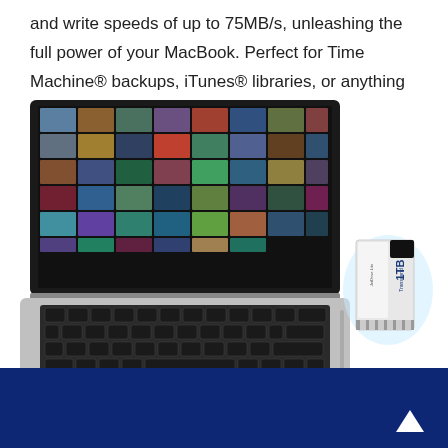and write speeds of up to 75MB/s, unleashing the full power of your MacBook. Perfect for Time Machine® backups, iTunes® libraries, or anything in-between.
[Figure (photo): A MacBook laptop open showing a photo library grid on screen, with a Transcend JetDrive Lite 1TB SD card shown separately to the right partially inserted into the card slot.]